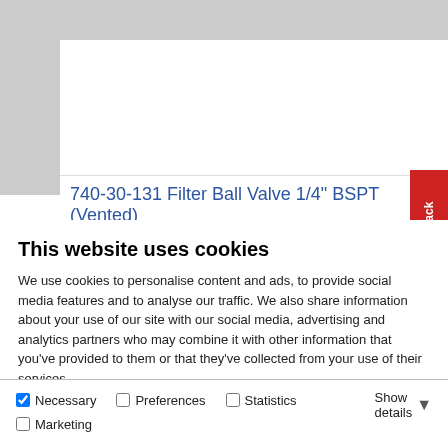[Figure (screenshot): Gray background area with white product card visible, showing a website product page for a Filter Ball Valve]
740-30-131 Filter Ball Valve 1/4" BSPT (Vented)
This website uses cookies
We use cookies to personalise content and ads, to provide social media features and to analyse our traffic. We also share information about your use of our site with our social media, advertising and analytics partners who may combine it with other information that you've provided to them or that they've collected from your use of their services.
Allow all cookies
Allow selection
Use necessary cookies only
Necessary
Preferences
Statistics
Marketing
Show details